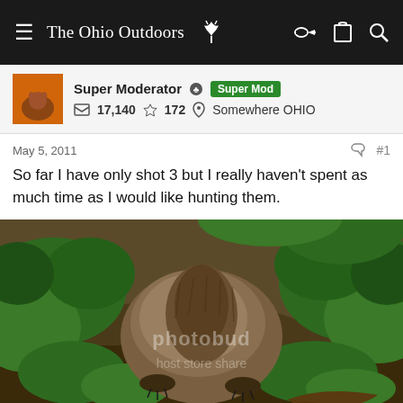The Ohio Outdoors
Super Moderator  Super Mod
17,140  172  Somewhere OHIO
May 5, 2011  #1
So far I have only shot 3 but I really haven't spent as much time as I would like hunting them.
[Figure (photo): A dead groundhog/woodchuck lying on the ground among green plants and vegetation, photographed from above. A Photobucket watermark is visible on the image.]